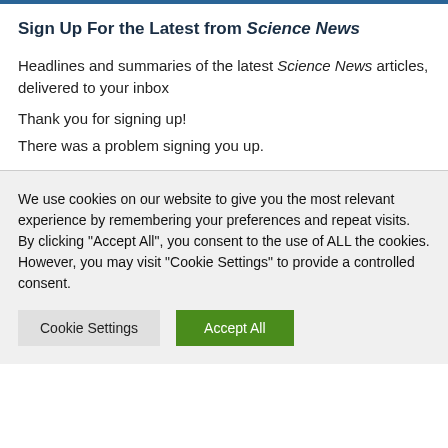Sign Up For the Latest from Science News
Headlines and summaries of the latest Science News articles, delivered to your inbox
Thank you for signing up!
There was a problem signing you up.
We use cookies on our website to give you the most relevant experience by remembering your preferences and repeat visits. By clicking "Accept All", you consent to the use of ALL the cookies. However, you may visit "Cookie Settings" to provide a controlled consent.